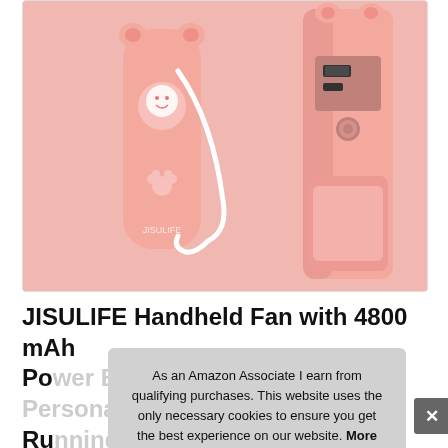[Figure (photo): Two pink handheld fan/power bank devices on a pink background. Left device is closed showing front face with a white wrist strap. Right device shows the back/top with USB port and buttons visible.]
JISULIFE Handheld Fan with 4800 mAh Po... Ru... Op...
As an Amazon Associate I earn from qualifying purchases. This website uses the only necessary cookies to ensure you get the best experience on our website. More information